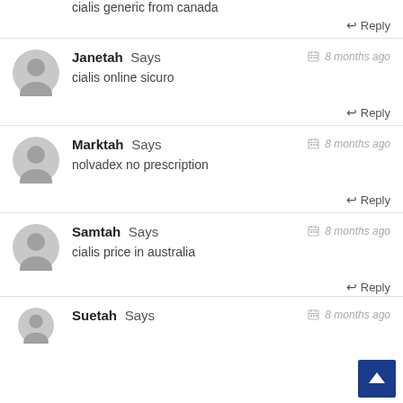cialis generic from canada
↩ Reply
Janetah Says — 8 months ago
cialis online sicuro
↩ Reply
Marktah Says — 8 months ago
nolvadex no prescription
↩ Reply
Samtah Says — 8 months ago
cialis price in australia
↩ Reply
Suetah Says — 8 months ago